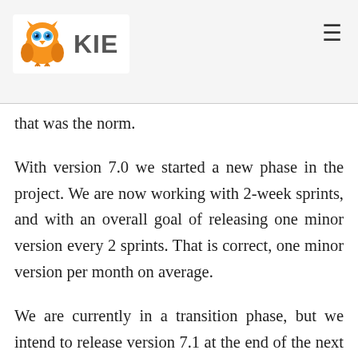[Figure (logo): KIE owl logo with orange owl icon and 'KIE' text in grey, on a light grey header bar with a hamburger menu icon on the right]
that was the norm.
With version 7.0 we started a new phase in the project. We are now working with 2-week sprints, and with an overall goal of releasing one minor version every 2 sprints. That is correct, one minor version per month on average.
We are currently in a transition phase, but we intend to release version 7.1 at the end of the next sprint (~6 weeks after 7.0), and then we